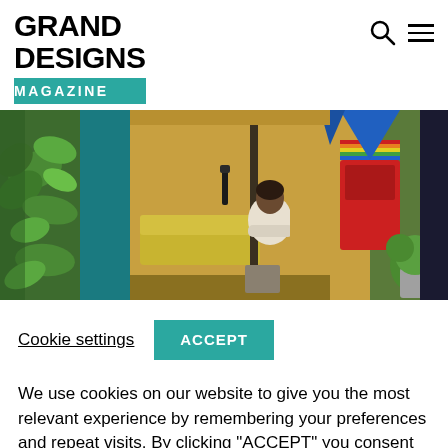GRAND DESIGNS MAGAZINE
[Figure (photo): Interior design photo showing a person working inside a compact, colorful modular living/studio space with wood paneling, yellow sofa, red furniture, and plant greenery on the sides]
Cookie settings   ACCEPT
We use cookies on our website to give you the most relevant experience by remembering your preferences and repeat visits. By clicking "ACCEPT" you consent to the use of ALL the cookies